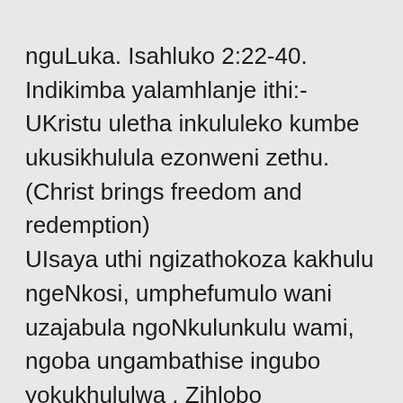nguLuka. Isahluko 2:22-40. Indikimba yalamhlanje ithi:- UKristu uletha inkululeko kumbe ukusikhulula ezonweni zethu. (Christ brings freedom and redemption) UIsaya uthi ngizathokoza kakhulu ngeNkosi, umphefumulo wani uzajabula ngoNkulunkulu wami, ngoba ungambathise ingubo yokukhululwa . Zihlobo ezithandekayo, zingaki izinto esithokoza sijabule ngazo ngemva